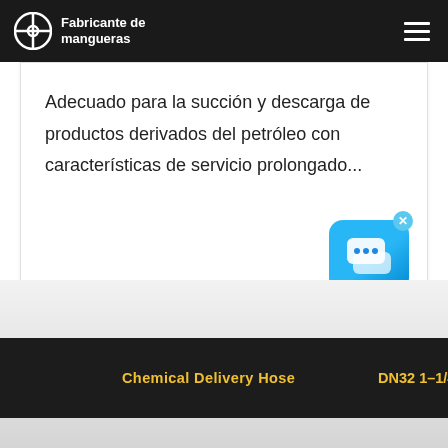Fabricante de mangueras
Adecuado para la succión y descarga de productos derivados del petróleo con características de servicio prolongado...
[Figure (photo): A black industrial rubber hose with yellow text reading 'Chemical Delivery Hose' and 'DN32 1-1/4"' on a light grey background]
Chemical Delivery Hose  DN32 1–1/4"